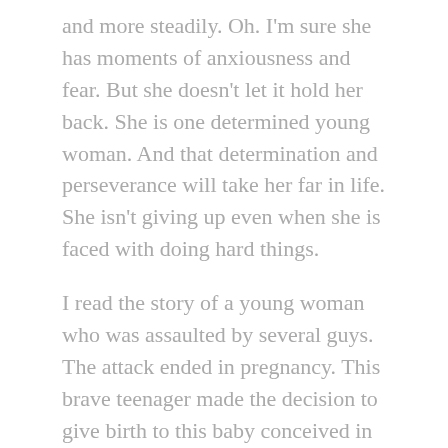and more steadily. Oh. I'm sure she has moments of anxiousness and fear. But she doesn't let it hold her back. She is one determined young woman. And that determination and perseverance will take her far in life. She isn't giving up even when she is faced with doing hard things.
I read the story of a young woman who was assaulted by several guys. The attack ended in pregnancy. This brave teenager made the decision to give birth to this baby conceived in the most traumatic of situations. She is now the mother of a baby girl. Not knowing who the father is, she chose life for her child. Oh. Sure. There is trauma from the attack. There are obstacles she faces. She didn't ask for this. But she chose life for her innocent child. And life is hard. But it's worth living. For both of them.